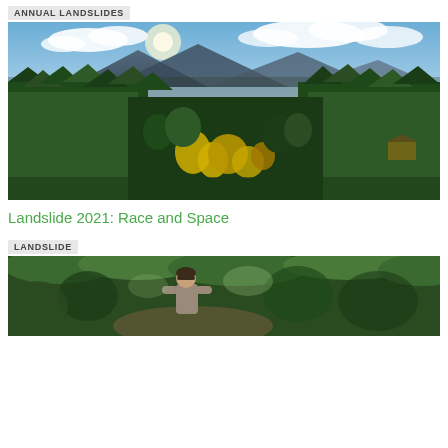ANNUAL LANDSLIDES
[Figure (photo): Aerial view of a dense forested landscape with mountains in the background, blue sky with clouds, and a valley with yellow autumn trees in the center.]
Landslide 2021: Race and Space
LANDSLIDE
[Figure (photo): A person standing in a lush green forest, wearing a grey top, looking slightly upward and to the side.]